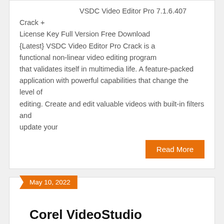VSDC Video Editor Pro 7.1.6.407 Crack + License Key Full Version Free Download {Latest} VSDC Video Editor Pro Crack is a functional non-linear video editing program that validates itself in multimedia life. A feature-packed application with powerful capabilities that change the level of editing. Create and edit valuable videos with built-in filters and update your
Read More
May 10, 2022
Corel VideoStudio Ultimate 2022 v25.1.0.472 Crack + Keygen 2022
By activationadmn  Editor, Software, Video Editor  0 Comments